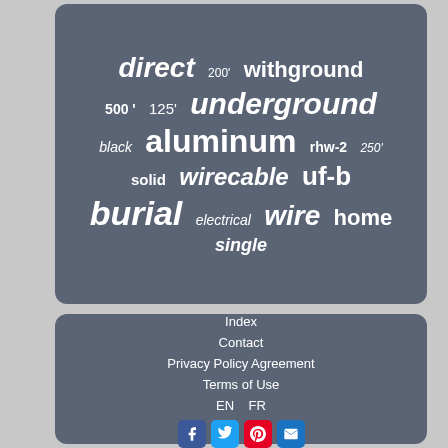[Figure (infographic): Tag cloud on dark blue-grey background with terms: direct, 200', withground, 500', 125', underground, black, aluminum, rhw-2, 250', solid, wirecable, uf-b, burial, electrical, wire, home, single]
Index
Contact
Privacy Policy Agreement
Terms of Use
EN   FR
[Figure (infographic): Social media icon buttons: Facebook, Twitter, Pinterest, Email]